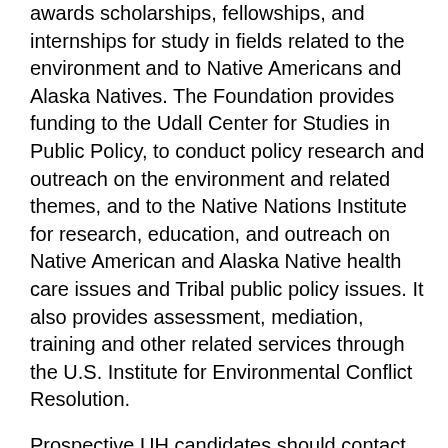awards scholarships, fellowships, and internships for study in fields related to the environment and to Native Americans and Alaska Natives. The Foundation provides funding to the Udall Center for Studies in Public Policy, to conduct policy research and outreach on the environment and related themes, and to the Native Nations Institute for research, education, and outreach on Native American and Alaska Native health care issues and Tribal public policy issues. It also provides assessment, mediation, training and other related services through the U.S. Institute for Environmental Conflict Resolution.
Prospective UH candidates should contact Ben Rayder at btrayder@central.uh.edu in the Office of Undergraduate Research about preparing an application for the 2020 cycle.